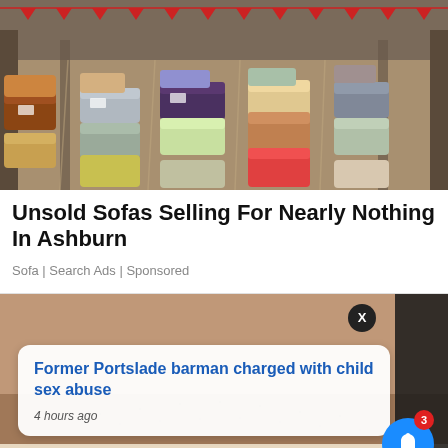[Figure (photo): Aerial view of a large furniture warehouse showroom filled with rows of sofas and couches in various colors and styles.]
Unsold Sofas Selling For Nearly Nothing In Ashburn
Sofa | Search Ads | Sponsored
[Figure (photo): Close-up photo of a man's lower face showing stubble and teeth, forming the background of a news article notification overlay. Overlays include an X close button, a news card reading 'Former Portslade barman charged with child sex abuse' with timestamp '4 hours ago', and a blue notification bell button with a red badge showing '3'.]